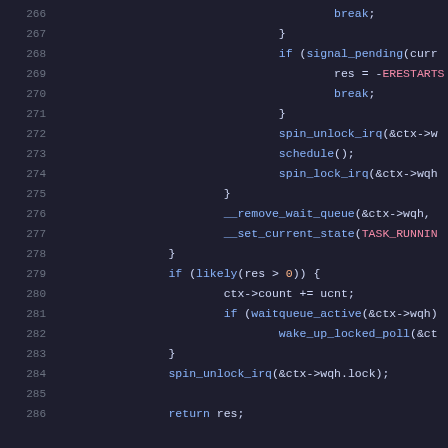Source code listing lines 266–286, C kernel code snippet showing wait queue, spin lock, and scheduling operations.